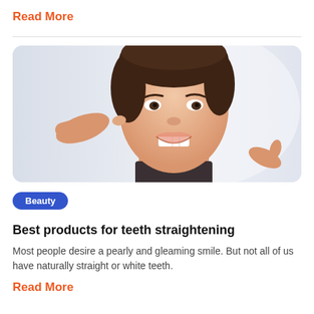Read More
[Figure (photo): Woman smiling and pointing at her teeth with both index fingers, against a light background, inside a rounded rectangle card]
Beauty
Best products for teeth straightening
Most people desire a pearly and gleaming smile. But not all of us have naturally straight or white teeth.
Read More